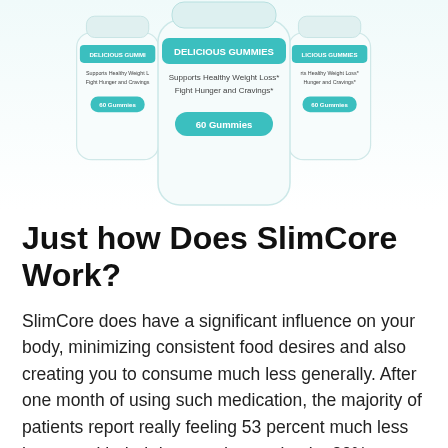[Figure (photo): Three white supplement bottles labeled with teal/green accents. Center bottle is most prominent. Labels read 'DELICIOUS GUMMIES', 'Supports Healthy Weight Loss*', 'Fight Hunger and Cravings*', '60 Gummies'.]
Just how Does SlimCore Work?
SlimCore does have a significant influence on your body, minimizing consistent food desires and also creating you to consume much less generally. After one month of using such medication, the majority of patients report really feeling 53 percent much less hungry, with their hunger decreasing by 20% every two weeks buy slimcore gummies in